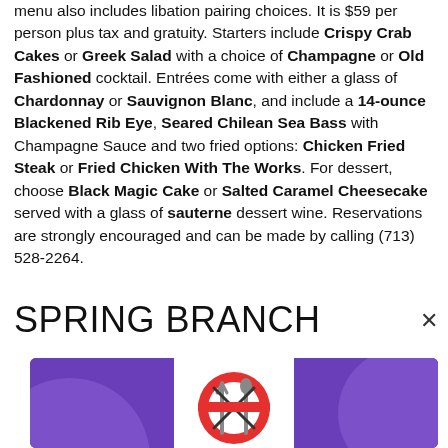menu also includes libation pairing choices. It is $59 per person plus tax and gratuity. Starters include Crispy Crab Cakes or Greek Salad with a choice of Champagne or Old Fashioned cocktail. Entrées come with either a glass of Chardonnay or Sauvignon Blanc, and include a 14-ounce Blackened Rib Eye, Seared Chilean Sea Bass with Champagne Sauce and two fried options: Chicken Fried Steak or Fried Chicken With The Works. For dessert, choose Black Magic Cake or Salted Caramel Cheesecake served with a glass of sauterne dessert wine. Reservations are strongly encouraged and can be made by calling (713) 528-2264.
SPRING BRANCH
[Figure (illustration): Purple background advertisement with circular decorative elements and a centered white box containing a logo with crossed fork and spoon over a circular emblem]